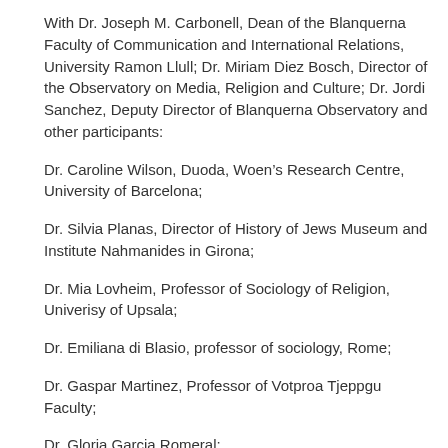With Dr. Joseph M. Carbonell, Dean of the Blanquerna Faculty of Communication and International Relations, University Ramon Llull; Dr. Miriam Diez Bosch, Director of the Observatory on Media, Religion and Culture; Dr. Jordi Sanchez, Deputy Director of Blanquerna Observatory and other participants:
Dr. Caroline Wilson, Duoda, Woen's Research Centre, University of Barcelona;
Dr. Silvia Planas, Director of History of Jews Museum and Institute Nahmanides in Girona;
Dr. Mia Lovheim, Professor of Sociology of Religion, Univerisy of Upsala;
Dr. Emiliana di Blasio, professor of sociology, Rome;
Dr. Gaspar Martinez, Professor of Votproa Tjeppgu Faculty;
Dr. Gloria Garcia Romeral;